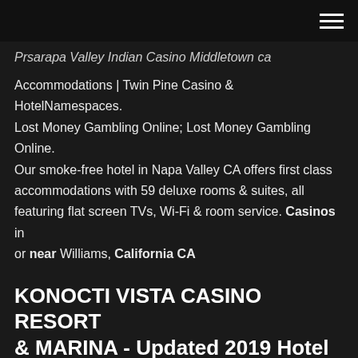[hamburger menu icon]
Prsarapa valley Indian Casino Middletown ca Accommodations | Twin Pine Casino & HotelNamespaces. Lost Money Gambling Online; Lost Money Gambling Online. Our smoke-free hotel in Napa Valley CA offers first class accommodations with 59 deluxe rooms & suites, all featuring flat screen TVs, Wi-Fi & room service. Casinos in or near Williams, California CA
KONOCTI VISTA CASINO RESORT & MARINA - Updated 2019 Hotel Reviews (Lakeport, CA - Lake County) - TripAdvisor - TripAdvisor...
Twin Pine Casino & Hotel | Napa Valley Slots & More You